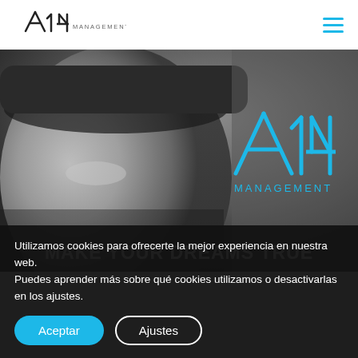[Figure (logo): A14 Management logo in black/dark grey in the top left header]
[Figure (photo): Black and white close-up photo of a racing driver (Fernando Alonso) wearing a cap, with A14 Management logo in blue overlaid on the right side and 'MAKE YOUR DREAMS TRUE' text at the bottom of the hero image]
Utilizamos cookies para ofrecerte la mejor experiencia en nuestra web.
Puedes aprender más sobre qué cookies utilizamos o desactivarlas en los ajustes.
Aceptar
Ajustes